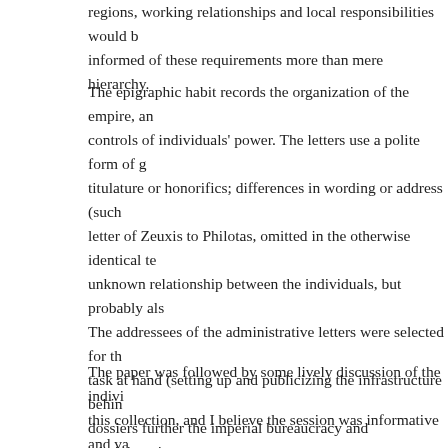regions, working relationships and local responsibilities would be informed of these requirements more than mere hierarchy.
The epigraphic habit records the organization of the empire, and controls of individuals' power. The letters use a polite form of g titulature or honorifics; differences in wording or address (such letter of Zeuxis to Philotas, omitted in the otherwise identical te unknown relationship between the individuals, but probably also The addressees of the administrative letters were selected for the task at hand (setting up and publicizing the infrastructure behind dossiers further the imperial bureaucracy and administration, an regional networks. A uniform epigraphic practice does not neces and ranks in different regions. Rather, the variations within and the relationships between officials as well as the interests and re
The paper was followed by some lively discussion of the indivi this collection, and I believe the session was informative and va the speaker.